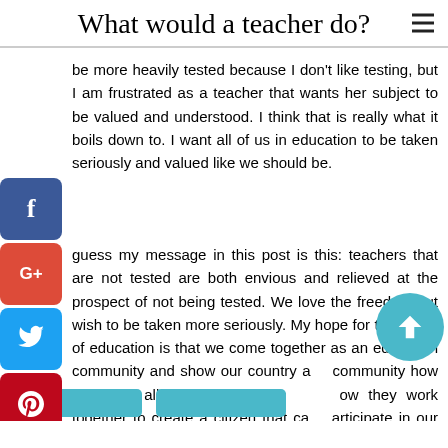What would a teacher do?
be more heavily tested because I don't like testing, but I am frustrated as a teacher that wants her subject to be valued and understood. I think that is really what it boils down to. I want all of us in education to be taken seriously and valued like we should be.
I guess my message in this post is this: teachers that are not tested are both envious and relieved at the prospect of not being tested. We love the freedom but wish to be taken more seriously. My hope for the future of education is that we come together as an education community and show our country and community how important all our subjects are and how they work together to create a citizen that can participate in our society.